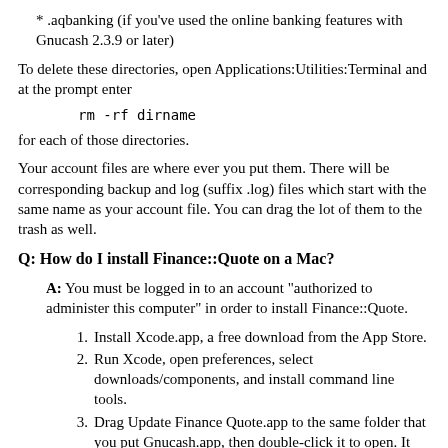* .aqbanking (if you've used the online banking features with Gnucash 2.3.9 or later)
To delete these directories, open Applications:Utilities:Terminal and at the prompt enter
for each of those directories.
Your account files are where ever you put them. There will be corresponding backup and log (suffix .log) files which start with the same name as your account file. You can drag the lot of them to the trash as well.
Q: How do I install Finance::Quote on a Mac?
A: You must be logged in to an account "authorized to administer this computer" in order to install Finance::Quote.
1. Install Xcode.app, a free download from the App Store.
2. Run Xcode, open preferences, select downloads/components, and install command line tools.
3. Drag Update Finance Quote.app to the same folder that you put Gnucash.app, then double-click it to open. It will open Terminal, where you are prompted for ...